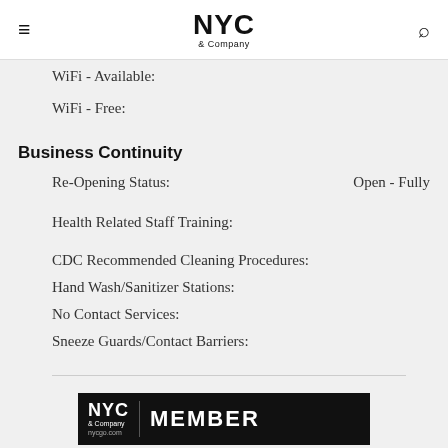NYC & Company
WiFi - Available:
WiFi - Free:
Business Continuity
Re-Opening Status: Open - Fully
Health Related Staff Training:
CDC Recommended Cleaning Procedures:
Hand Wash/Sanitizer Stations:
No Contact Services:
Sneeze Guards/Contact Barriers:
NYC & Company | MEMBER nycgo.com